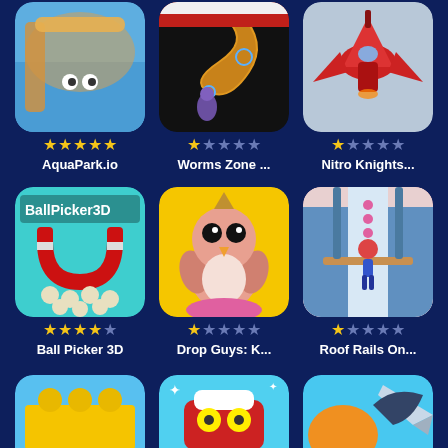[Figure (screenshot): App store grid showing mobile games: Row 1: AquaPark.io (5 stars), Worms Zone... (1 star), Nitro Knights... (1 star). Row 2: Ball Picker 3D (4 stars), Drop Guys: K... (1 star), Roof Rails On... (1 star). Row 3: partial thumbnails of three more games.]
AquaPark.io
Worms Zone ...
Nitro Knights...
Ball Picker 3D
Drop Guys: K...
Roof Rails On...